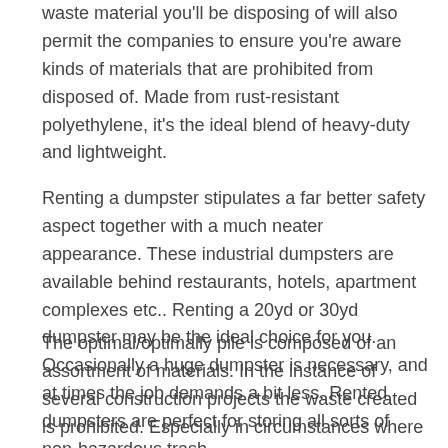waste material you'll be disposing of will also permit the companies to ensure you're aware kinds of materials that are prohibited from disposed of. Made from rust-resistant polyethylene, it's the ideal blend of heavy-duty and lightweight.
Renting a dumpster stipulates a far better safety aspect together with a much neater appearance. These industrial dumpsters are available behind restaurants, hotels, apartment complexes etc.. Renting a 20yd or 30yd dumpster may be the ideal choice for you. Occasionally a huge dumpster is necessary, and at times the job demands a bit less. Rented dumpsters are perfect for storing all sorts of non-hazardous trash.
The optimal/optimally pile is composed of an assortment of materials. In the instance of several construction projects the waste created is prohibited. Especially in circumstances where building materials are compromised by pests, moisture, etc.. It's produced from a strong polypropylene material which makes it durable enough to undertake almost any project you may throw at it.